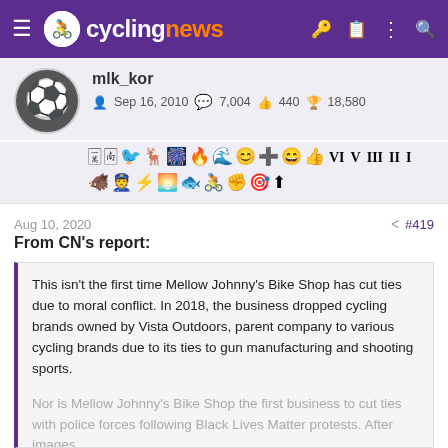cyclingnews
mlk_kor
Sep 16, 2010  7,004  440  18,580
[Figure (other): User badge icons/achievements row]
Aug 10, 2020  #419
From CN's report:
This isn't the first time Mellow Johnny's Bike Shop has cut ties due to moral conflict. In 2018, the business dropped cycling brands owned by Vista Outdoors, parent company to various cycling brands due to its ties to gun manufacturing and shooting sports.

Nor is Mellow Johnny's Bike Shop the first business to cut ties with police forces following Black Lives Matter protests. After images